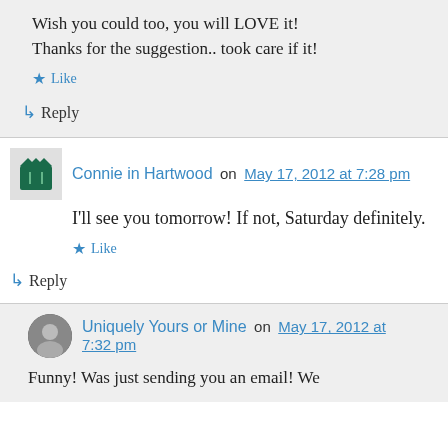Wish you could too, you will LOVE it! Thanks for the suggestion.. took care if it!
Like
↳ Reply
Connie in Hartwood on May 17, 2012 at 7:28 pm
I'll see you tomorrow! If not, Saturday definitely.
Like
↳ Reply
Uniquely Yours or Mine on May 17, 2012 at 7:32 pm
Funny! Was just sending you an email! We